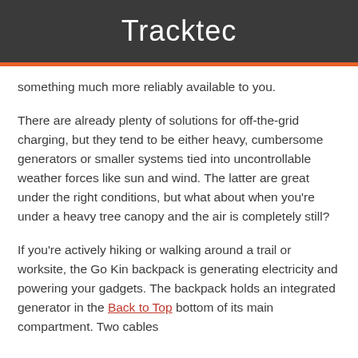Tracktec
something much more reliably available to you.
There are already plenty of solutions for off-the-grid charging, but they tend to be either heavy, cumbersome generators or smaller systems tied into uncontrollable weather forces like sun and wind. The latter are great under the right conditions, but what about when you're under a heavy tree canopy and the air is completely still?
If you're actively hiking or walking around a trail or worksite, the Go Kin backpack is generating electricity and powering your gadgets. The backpack holds an integrated generator in the bottom of its main compartment. Two cables